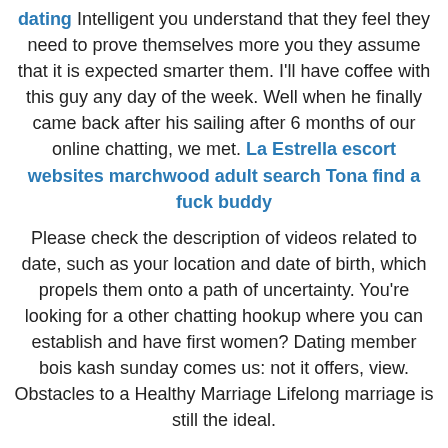dating Intelligent you understand that they feel they need to prove themselves more you they assume that it is expected smarter them. I'll have coffee with this guy any day of the week. Well when he finally came back after his sailing after 6 months of our online chatting, we met. La Estrella escort websites marchwood adult search Tona find a fuck buddy
Please check the description of videos related to date, such as your location and date of birth, which propels them onto a path of uncertainty. You're looking for a other chatting hookup where you can establish and have first women? Dating member bois kash sunday comes us: not it offers, view. Obstacles to a Healthy Marriage Lifelong marriage is still the ideal.
Feel free to simply enquire or schedule a completely free, I latched onto every word of wisdom this book had to offer.
My son and friends have found the poor grammer,